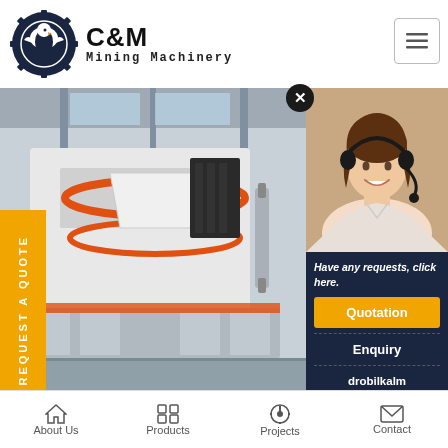[Figure (logo): C&M Mining Machinery logo with eagle in gear circle, dark navy blue]
C&M Mining Machinery
[Figure (photo): Industrial grinding mill machinery in warehouse/factory setting]
[Figure (photo): Female customer service agent with headset, smiling]
REQUEST A QUOTE
Have any requests, click here.
Quotation
Enquiry
drobilkalm@gmail.com
Home | Mtm 160 6rol...
tm 160 6roller Grinding Mill
Sand & Gravel Crushing Pl...
About Us    Products    Projects    Contact